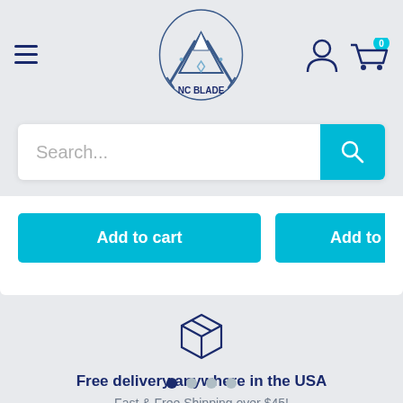[Figure (logo): NC Blade logo with mountain and crossed blades on a shield, circular shape]
[Figure (screenshot): Search bar with placeholder text 'Search...' and a teal search button with magnifying glass icon]
Add to cart
Add to
[Figure (illustration): Dark blue line-art box/package icon representing shipping]
Free delivery anywhere in the USA
Fast & Free Shipping over $45!